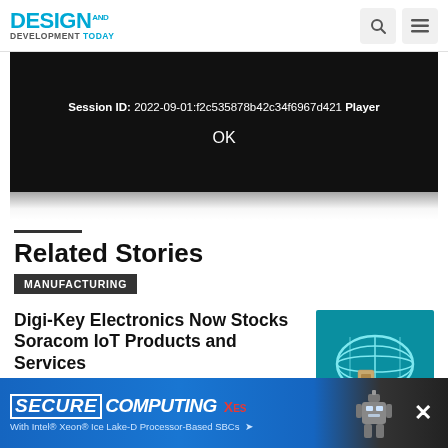DESIGN AND DEVELOPMENT TODAY
[Figure (screenshot): Video player error dialog on dark background showing Session ID: 2022-09-01:f2c535878b42c34f6967d421 Player and OK button]
Related Stories
MANUFACTURING
Digi-Key Electronics Now Stocks Soracom IoT Products and Services
[Figure (photo): Soracom advertisement image with teal background showing globe/network graphic, SIM card, USB device, and SORACOM logo]
MANUFACTURING
Digi-Key Celebrates Ribbon
[Figure (screenshot): Advertisement banner: SECURE COMPUTING with Intel Xeon Ice Lake-D Processor-Based SBCs, XES logo and robot image]